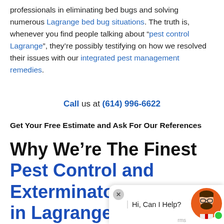professionals in eliminating bed bugs and solving numerous Lagrange bed bug situations. The truth is, whenever you find people talking about "pest control Lagrange", they're possibly testifying on how we resolved their issues with our integrated pest management remedies.
Call us at (614) 996-6622
Get Your Free Estimate and Ask For Our References
Why We're The Finest Pest Control and Exterminators in Lagrange O
[Figure (illustration): Chat widget with avatar showing a man with beard and glasses on orange circle background, green online indicator dot, close button (X), and text 'Hi, Can I Help?']